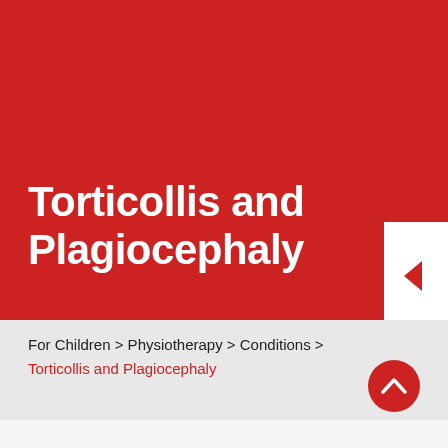[Figure (illustration): Red banner background covering upper portion of page]
Torticollis and Plagiocephaly
For Children > Physiotherapy > Conditions > Torticollis and Plagiocephaly